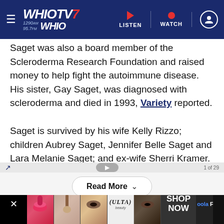WHIO TV7 1290AM 95.7FM WHIO | LISTEN | WATCH
Saget was also a board member of the Scleroderma Research Foundation and raised money to help fight the autoimmune disease. His sister, Gay Saget, was diagnosed with scleroderma and died in 1993, Variety reported.
Saget is survived by his wife Kelly Rizzo; children Aubrey Saget, Jennifer Belle Saget and Lara Melanie Saget; and ex-wife Sherri Kramer.
[Figure (screenshot): Read More button with chevron, and navigation arrow bar with play button]
[Figure (screenshot): Advertisement strip with makeup images, ULTA beauty logo, SHOP NOW text, Oola Feed text, and close button. Dark background with a large ad area showing a person's face.]